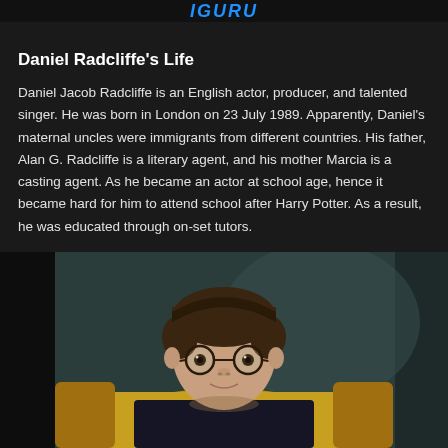iGuru
Daniel Radcliffe's Life
Daniel Jacob Radcliffe is an English actor, producer, and talented singer. He was born in London on 23 July 1989. Apparently, Daniel's maternal uncles were immigrants from different countries. His father, Alan G. Radcliffe is a literary agent, and his mother Marcia is a casting agent. As he became an actor at school age, hence it became hard for him to attend school after Harry Potter. As a result, he was educated through on-set tutors.
[Figure (photo): Young Daniel Radcliffe as Harry Potter, wearing round glasses and a dark sweater, seated in a yellow chair with a teal/green background]